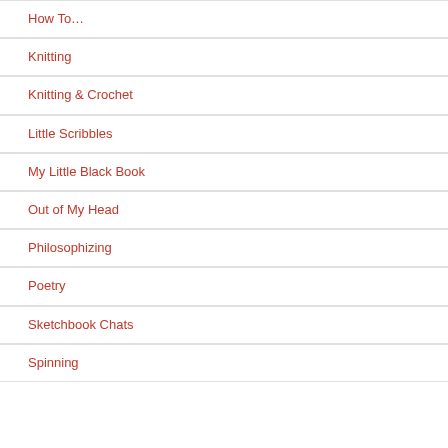How To…
Knitting
Knitting & Crochet
Little Scribbles
My Little Black Book
Out of My Head
Philosophizing
Poetry
Sketchbook Chats
Spinning